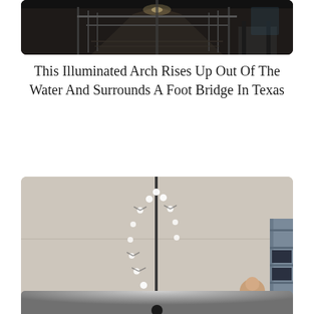[Figure (photo): Photograph of a covered walkway or corridor with dark iron railings, wooden floor, viewed from inside looking toward the exit. Low light, atmospheric.]
This Illuminated Arch Rises Up Out Of The Water And Surrounds A Foot Bridge In Texas
[Figure (photo): Indoor photo showing a tall metal pole with a series of small drone hummingbirds arranged in an arch shape. A person and metal shelving unit visible in the background.]
Nano Hummingbird
[Figure (photo): Partial photograph at bottom of page, dark circular object visible against a grey gradient background.]